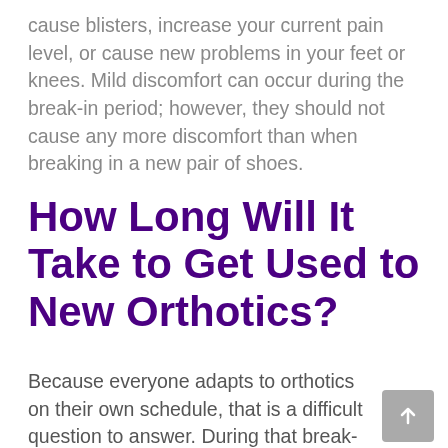cause blisters, increase your current pain level, or cause new problems in your feet or knees. Mild discomfort can occur during the break-in period; however, they should not cause any more discomfort than when breaking in a new pair of shoes.
How Long Will It Take to Get Used to New Orthotics?
Because everyone adapts to orthotics on their own schedule, that is a difficult question to answer. During that break-in